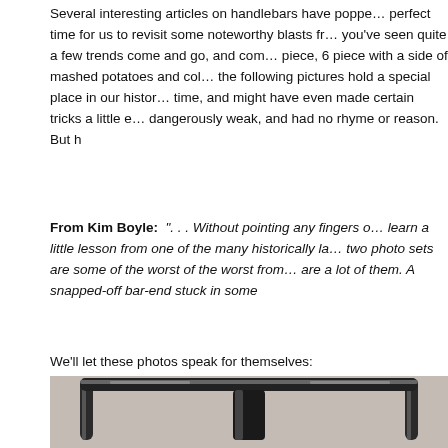Several interesting articles on handlebars have popped up recently, making it the perfect time for us to revisit some noteworthy blasts from the past. By now you've seen quite a few trends come and go, and come again. Whether it's the 4 piece, 6 piece with a side of mashed potatoes and coleslaw, or even the 8 piece, the following pictures hold a special place in our history. They defined a certain time, and might have even made certain tricks a little easier. But they were dangerously weak, and had no rhyme or reason. But h
From Kim Boyle: ". . . Without pointing any fingers or anything, we can all learn a little lesson from one of the many historically lamentable designs. These two photo sets are some of the worst of the worst from an era when bad bars are a lot of them. A snapped-off bar-end stuck in some
We'll let these photos speak for themselves:
[Figure (photo): Photo of black BMX handlebars viewed from the front, showing a T-shaped bar with crossbar and uprights, chrome/metallic finish visible, on a light background.]